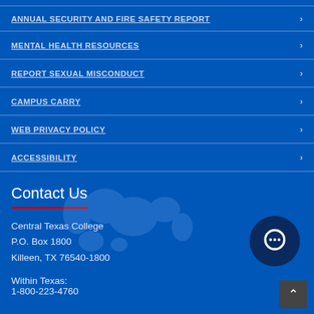ANNUAL SECURITY AND FIRE SAFETY REPORT
MENTAL HEALTH RESOURCES
REPORT SEXUAL MISCONDUCT
CAMPUS CARRY
WEB PRIVACY POLICY
ACCESSIBILITY
Contact Us
Central Texas College
P.O. Box 1800
Killeen, TX 76540-1800
Within Texas:
1-800-223-4760